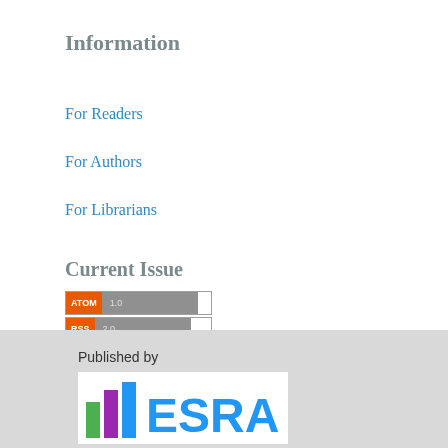Information
For Readers
For Authors
For Librarians
Current Issue
[Figure (logo): ATOM 1.0 feed badge — orange ATOM label and grey 1.0 version area]
[Figure (logo): RSS 2.0 feed badge — orange RSS label and grey 2.0 version area]
[Figure (logo): RSS 1.0 feed badge — orange RSS label and grey 1.0 version area]
Published by
[Figure (logo): ESRA logo with colored bar chart icon and ESRA text]